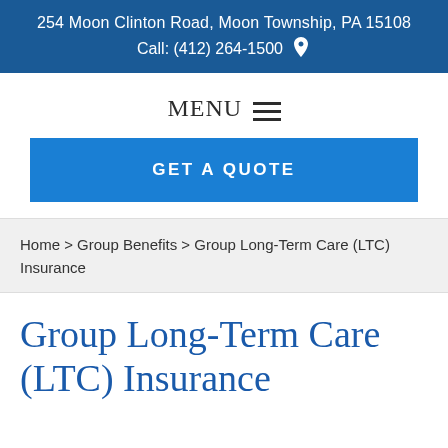254 Moon Clinton Road, Moon Township, PA 15108
Call: (412) 264-1500
MENU
GET A QUOTE
Home > Group Benefits > Group Long-Term Care (LTC) Insurance
Group Long-Term Care (LTC) Insurance